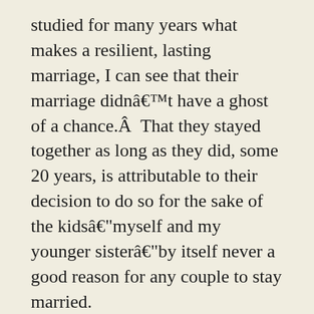studied for many years what makes a resilient, lasting marriage, I can see that their marriage didnâ€™t have a ghost of a chance.Â  That they stayed together as long as they did, some 20 years, is attributable to their decision to do so for the sake of the kidsâ€“myself and my younger sisterâ€“by itself never a good reason for any couple to stay married.
All the same, had my parents not married I would not have been born, so I have to thank them for that, as I must admit that Iâ€™m glad I was born.Â  To echo Kurt Vonnegut, Jr., â€œSo it goes.â€Â  Itâ€™s also true that my mother had some